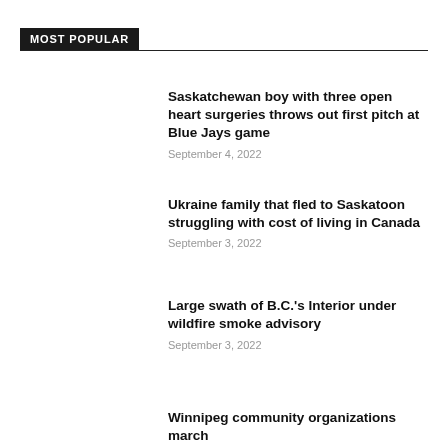MOST POPULAR
Saskatchewan boy with three open heart surgeries throws out first pitch at Blue Jays game
September 4, 2022
Ukraine family that fled to Saskatoon struggling with cost of living in Canada
September 3, 2022
Large swath of B.C.'s Interior under wildfire smoke advisory
September 3, 2022
Winnipeg community organizations march